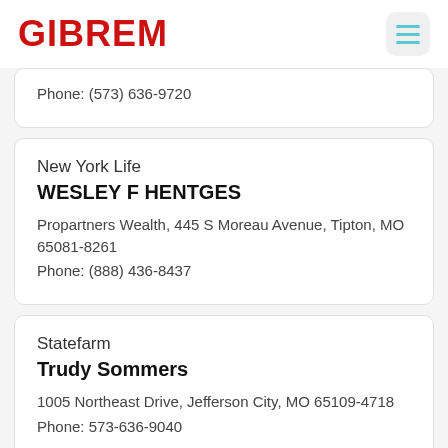GIBREM
Phone: (573) 636-9720
New York Life
WESLEY F HENTGES
Propartners Wealth, 445 S Moreau Avenue, Tipton, MO 65081-8261
Phone: (888) 436-8437
Statefarm
Trudy Sommers
1005 Northeast Drive, Jefferson City, MO 65109-4718
Phone: 573-636-9040